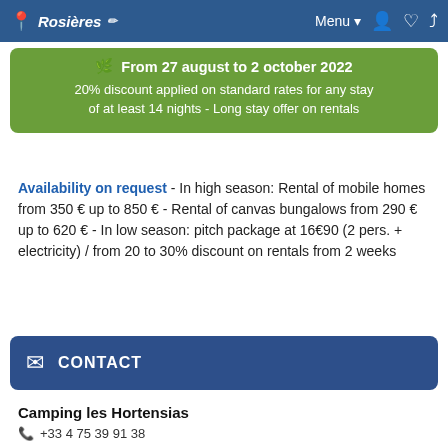Rosières  Menu
From 27 august to 2 october 2022
20% discount applied on standard rates for any stay of at least 14 nights - Long stay offer on rentals
Availability on request - In high season: Rental of mobile homes from 350 € up to 850 € - Rental of canvas bungalows from 290 € up to 620 € - In low season: pitch package at 16€90 (2 pers. + electricity) / from 20 to 30% discount on rentals from 2 weeks
CONTACT
Camping les Hortensias
+33 4 75 39 91 38
www.leshortensias.com